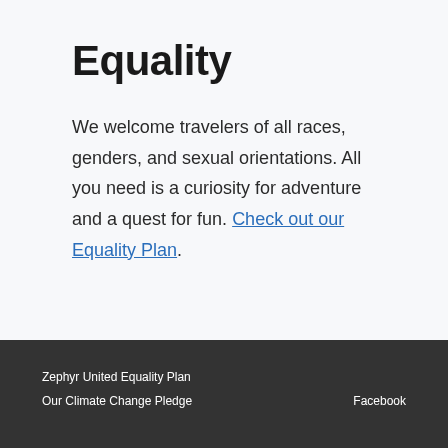Equality
We welcome travelers of all races, genders, and sexual orientations. All you need is a curiosity for adventure and a quest for fun. Check out our Equality Plan.
Zephyr United Equality Plan
Our Climate Change Pledge
Facebook